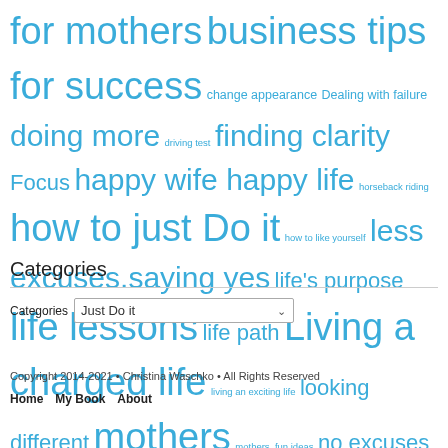for mothers business tips for success change appearance Dealing with failure doing more driving test finding clarity Focus happy wife happy life horseback riding how to just Do it how to like yourself less excuses.saying yes life's purpose life lessons life path Living a charged life living an exciting life looking different mothers mothers. fun ideas no excuses parents Passion physical features short legs small boobs special gift special talent successful supporting your spouse teenagers tips tough mothers turning dreams into reality unique appearance Vancouver Tumblebus wisdom Yes Girl
Categories
Categories  Just Do it
Copyright 2014-2021 • Christina Waschko • All Rights Reserved
Home  My Book  About